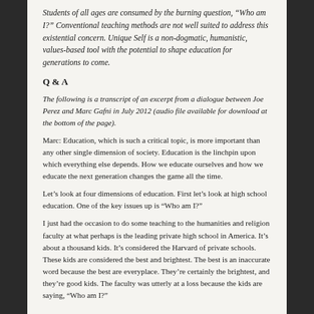Students of all ages are consumed by the burning question, “Who am I?” Conventional teaching methods are not well suited to address this existential concern. Unique Self is a non-dogmatic, humanistic, values-based tool with the potential to shape education for generations to come.
Q & A
The following is a transcript of an excerpt from a dialogue between Joe Perez and Marc Gafni in July 2012 (audio file available for download at the bottom of the page).
Marc: Education, which is such a critical topic, is more important than any other single dimension of society. Education is the linchpin upon which everything else depends. How we educate ourselves and how we educate the next generation changes the game all the time.
Let’s look at four dimensions of education. First let’s look at high school education. One of the key issues up is “Who am I?”
I just had the occasion to do some teaching to the humanities and religion faculty at what perhaps is the leading private high school in America. It’s about a thousand kids. It’s considered the Harvard of private schools. These kids are considered the best and brightest. The best is an inaccurate word because the best are everyplace. They’re certainly the brightest, and they’re good kids. The faculty was utterly at a loss because the kids are saying, “Who am I?”